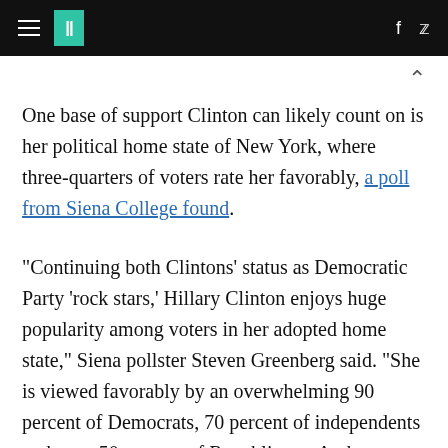HuffPost header with hamburger menu, logo, Facebook and Twitter icons
One base of support Clinton can likely count on is her political home state of New York, where three-quarters of voters rate her favorably, a poll from Siena College found.
"Continuing both Clintons' status as Democratic Party 'rock stars,' Hillary Clinton enjoys huge popularity among voters in her adopted home state," Siena pollster Steven Greenberg said. "She is viewed favorably by an overwhelming 90 percent of Democrats, 70 percent of independents and even 50 percent of Republicans. And although the Iowa caucuses